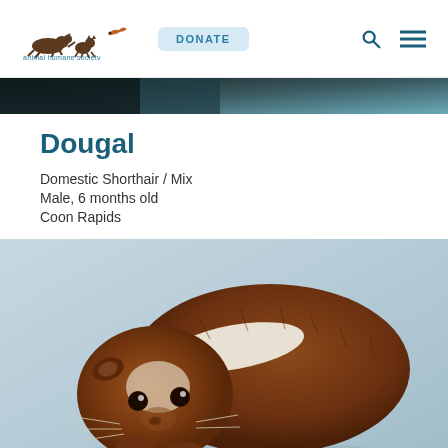Animal Humane Society — DONATE [search] [menu]
[Figure (photo): Partial top of a pet photo visible at bottom of header image strip, dark/teal background]
Dougal
Domestic Shorthair / Mix
Male, 6 months old
Coon Rapids
[Figure (photo): A brown and white guinea pig looking at the camera, photographed against a light blue-grey background]